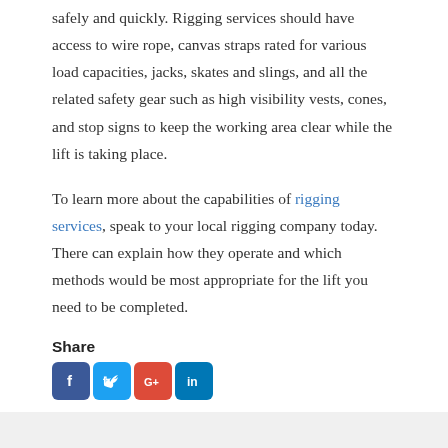safely and quickly. Rigging services should have access to wire rope, canvas straps rated for various load capacities, jacks, skates and slings, and all the related safety gear such as high visibility vests, cones, and stop signs to keep the working area clear while the lift is taking place.
To learn more about the capabilities of rigging services, speak to your local rigging company today. There can explain how they operate and which methods would be most appropriate for the lift you need to be completed.
Share
[Figure (other): Social media share icons: Facebook, Twitter, Google+, LinkedIn]